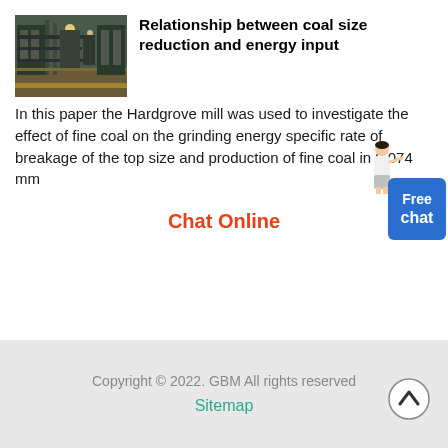[Figure (photo): Industrial machinery/mill equipment photo, showing large metal processing equipment in a factory setting]
Relationship between coal size reduction and energy input
In this paper the Hardgrove mill was used to investigate the effect of fine coal on the grinding energy specific rate of breakage of the top size and production of fine coal in 0.074 mm
Chat Online
Copyright © 2022. GBM All rights reserved. Sitemap